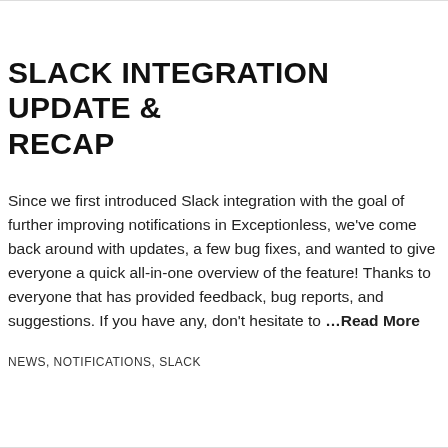SLACK INTEGRATION UPDATE & RECAP
Since we first introduced Slack integration with the goal of further improving notifications in Exceptionless, we've come back around with updates, a few bug fixes, and wanted to give everyone a quick all-in-one overview of the feature! Thanks to everyone that has provided feedback, bug reports, and suggestions. If you have any, don't hesitate to …Read More
NEWS, NOTIFICATIONS, SLACK